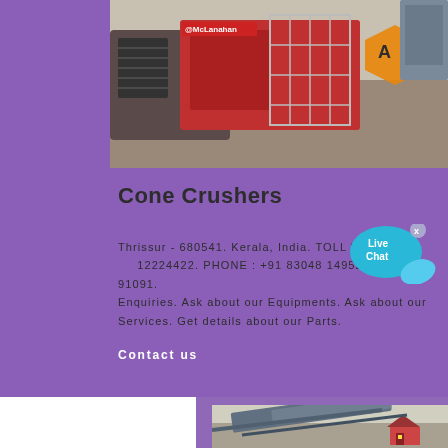[Figure (photo): Industrial cone crusher machinery with red and grey components, McLanahan branding visible, orange hexagonal logo overlay (AVC)]
Cone Crushers
Thrissur - 680541. Kerala, India. TOLL FREE: 1800-12-224422. PHONE : +91 83048 14952, +91 81130 91091. Enquiries. Ask about our Equipments. Ask about our Services. Get details about our Parts.
Contact us
[Figure (photo): Industrial screening/conveyor equipment outdoors, with a building visible in background]